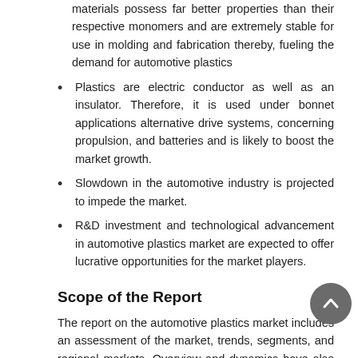materials possess far better properties than their respective monomers and are extremely stable for use in molding and fabrication thereby, fueling the demand for automotive plastics
Plastics are electric conductor as well as an insulator. Therefore, it is used under bonnet applications alternative drive systems, concerning propulsion, and batteries and is likely to boost the market growth.
Slowdown in the automotive industry is projected to impede the market.
R&D investment and technological advancement in automotive plastics market are expected to offer lucrative opportunities for the market players.
Scope of the Report
The report on the automotive plastics market includes an assessment of the market, trends, segments, and regional markets. Overview and dynamics have also been included in the report.